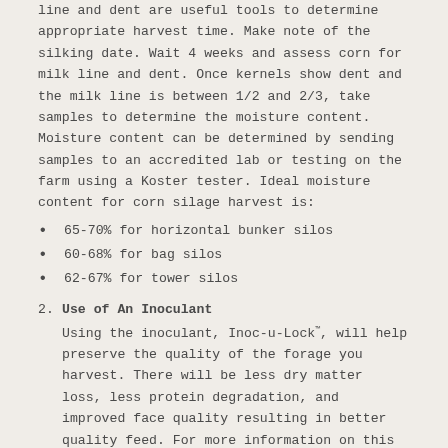line and dent are useful tools to determine appropriate harvest time. Make note of the silking date. Wait 4 weeks and assess corn for milk line and dent. Once kernels show dent and the milk line is between 1/2 and 2/3, take samples to determine the moisture content. Moisture content can be determined by sending samples to an accredited lab or testing on the farm using a Koster tester. Ideal moisture content for corn silage harvest is:
65-70% for horizontal bunker silos
60-68% for bag silos
62-67% for tower silos
2. Use of An Inoculant
Using the inoculant, Inoc-u-Lock™, will help preserve the quality of the forage you harvest. There will be less dry matter loss, less protein degradation, and improved face quality resulting in better quality feed. For more information on this cost effective approach please refer to page 80 in our 2016 catalog or visit our website at www.crystalcreeknatural.com.